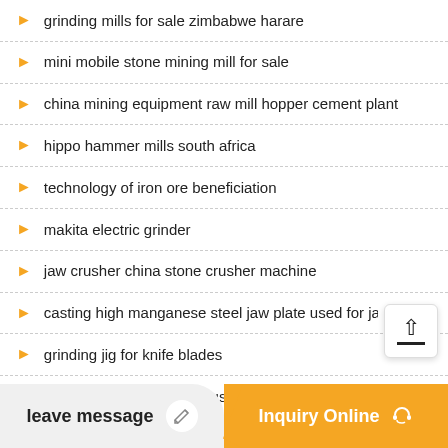grinding mills for sale zimbabwe harare
mini mobile stone mining mill for sale
china mining equipment raw mill hopper cement plant
hippo hammer mills south africa
technology of iron ore beneficiation
makita electric grinder
jaw crusher china stone crusher machine
casting high manganese steel jaw plate used for jaw crus…
grinding jig for knife blades
machine for groundnut crusher…